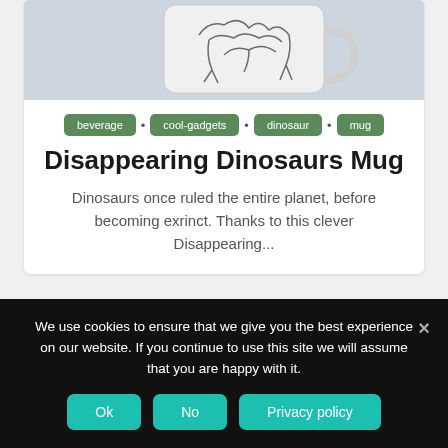[Figure (photo): Partial view of a white mug with dinosaur ink drawing on it, shown against a light gray-blue background]
beverage
cool-gadgets
dinosaur
mug
Disappearing Dinosaurs Mug
Dinosaurs once ruled the entire planet, before becoming exrinct. Thanks to this clever Disappearing...
[Figure (photo): Close-up photo of a realistic dinosaur head figurine (pachycephalosaurus or similar) on a light blue background, with a small yellow sale badge in the bottom right]
We use cookies to ensure that we give you the best experience on our website. If you continue to use this site we will assume that you are happy with it.